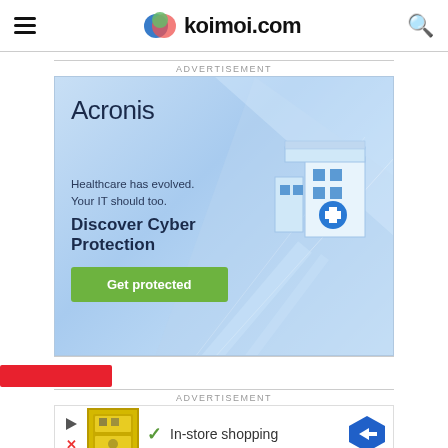koimoi.com
ADVERTISEMENT
[Figure (illustration): Acronis advertisement banner: light blue background with diagonal geometric shapes and isometric healthcare building illustration. Text: 'Acronis', 'Healthcare has evolved. Your IT should too.', 'Discover Cyber Protection', 'Get protected' green button.]
ADVERTISEMENT
[Figure (illustration): Lidl/store advertisement banner with play button, yellow product thumbnail, green checkmark, 'In-store shopping' text, and blue diamond direction arrow icon.]